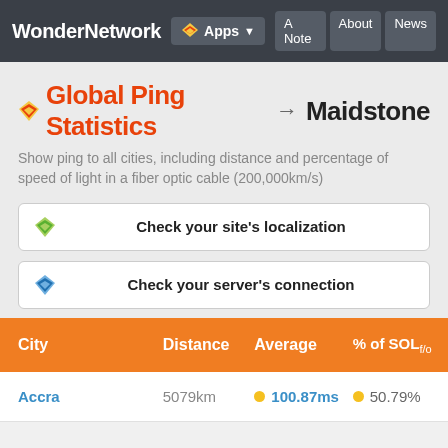WonderNetwork  Apps  A Note  About  News
Global Ping Statistics → Maidstone
Show ping to all cities, including distance and percentage of speed of light in a fiber optic cable (200,000km/s)
Check your site's localization
Check your server's connection
| City | Distance | Average | % of SOLf/o |
| --- | --- | --- | --- |
| Accra | 5079km | 100.87ms | 50.79% |